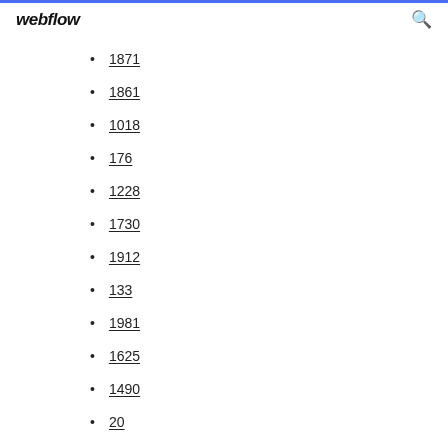webflow
1871
1861
1018
176
1228
1730
1912
133
1981
1625
1490
20